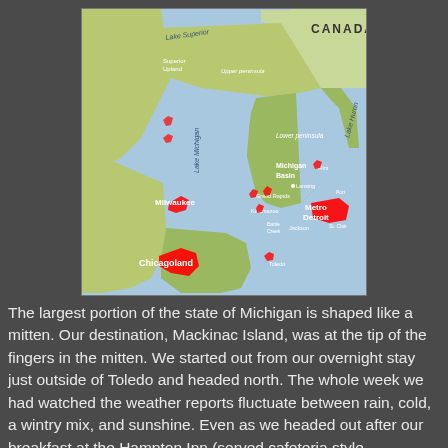[Figure (map): Map of the Great Lakes region showing Michigan, Lake Superior, Lake Michigan, Lake Huron, with labeled locations including Canada, Superior Upland, Upper peninsula, Lower peninsula, Michigan Basin, Milwaukee, Chicagoland, Metro Detroit, Lansing, Grand Rapids, Kalamazoo, Battle Creek, Jackson, Toledo, and Flint. Red highlighted areas indicate major metropolitan regions.]
The largest portion of the state of Michigan is shaped like a mitten. Our destination, Mackinac Island, was at the tip of the fingers in the mitten. We started out from our overnight stay just outside of Toledo and headed north. The whole week we had watched the weather reports fluctuate between rain, cold, a wintry mix, and sunshine. Even as we headed out after our breakfast at the Hampton Inn (served cafeteria style